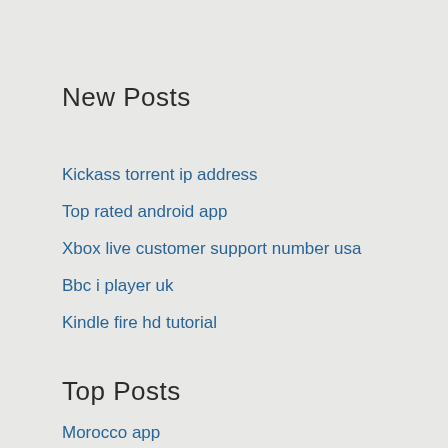New Posts
Kickass torrent ip address
Top rated android app
Xbox live customer support number usa
Bbc i player uk
Kindle fire hd tutorial
Top Posts
Morocco app